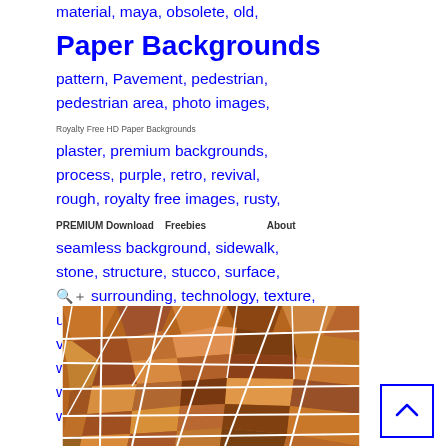Paper Backgrounds
Royalty Free HD Paper Backgrounds
PREMIUM Download   Freebies   About
material, maya, obsolete, old, paper, pavement, pattern, Pavement, pedestrian, pedestrian area, photo images, plaster, premium backgrounds, process, purple, retro, revival, rough, royalty free images, rusty, seamless background, sidewalk, stone, structure, stucco, surface, surrounding, technology, texture, unusual, urban, view, vintage, vintage wallpaper, vintage wallpaper background, walkway, wall, wallpapers, weathered, white, wreck
[Figure (illustration): A mosaic/stained-glass style illustration made of irregular polygon shapes in shades of orange, brown, and beige, simulating a broken tile or stone texture background.]
back to top arrow button